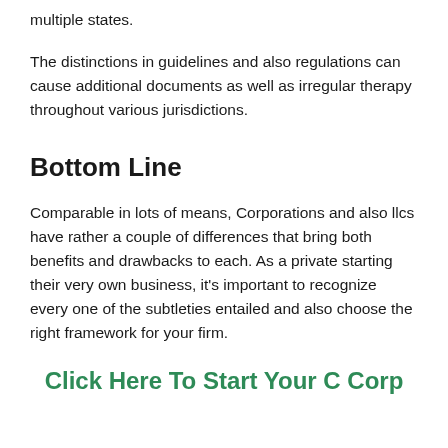multiple states.
The distinctions in guidelines and also regulations can cause additional documents as well as irregular therapy throughout various jurisdictions.
Bottom Line
Comparable in lots of means, Corporations and also llcs have rather a couple of differences that bring both benefits and drawbacks to each. As a private starting their very own business, it’s important to recognize every one of the subtleties entailed and also choose the right framework for your firm.
Click Here To Start Your C Corp